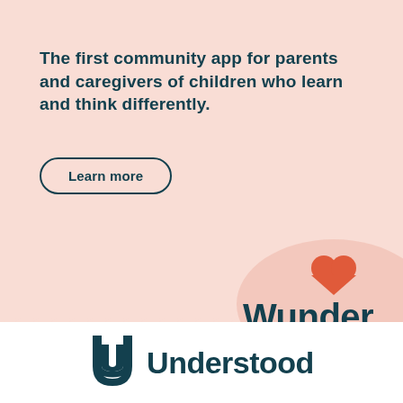The first community app for parents and caregivers of children who learn and think differently.
Learn more
[Figure (logo): Wunder app logo with orange/red double-heart icon above the word 'Wunder' in dark teal bold font, set on a salmon-colored blob background]
[Figure (logo): Understood.org logo — stylized dark teal 'U' mark beside the word 'Understood' in large dark teal bold font]